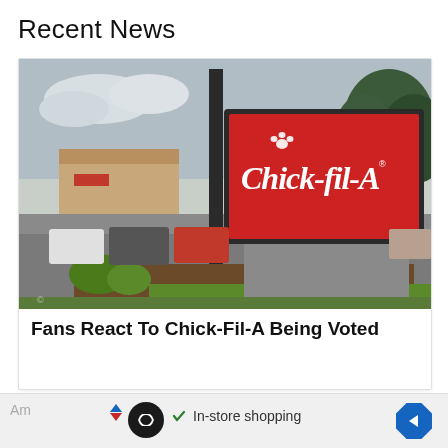Recent News
[Figure (photo): Chick-fil-A outdoor sign with red background and white script logo, parking lot and commercial buildings visible in background, landscaping in foreground]
Fans React To Chick-Fil-A Being Voted
Am
✓ In-store shopping